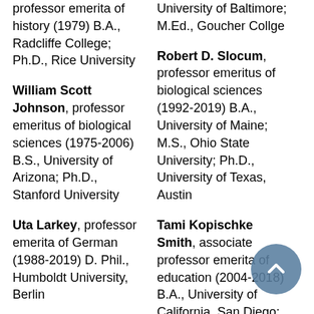professor emerita of history (1979) B.A., Radcliffe College; Ph.D., Rice University
William Scott Johnson, professor emeritus of biological sciences (1975-2006) B.S., University of Arizona; Ph.D., Stanford University
Uta Larkey, professor emerita of German (1988-2019) D. Phil., Humboldt University, Berlin
University of Baltimore; M.Ed., Goucher Collge
Robert D. Slocum, professor emeritus of biological sciences (1992-2019) B.A., University of Maine; M.S., Ohio State University; Ph.D., University of Texas, Austin
Tami Kopischke Smith, associate professor emerita of education (2004-2018) B.A., University of California, San Diego; M.Ed., Ph.D., University of Virginia